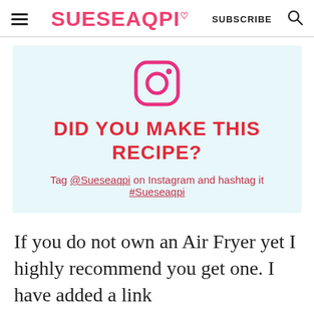SUESEAQPI  SUBSCRIBE
[Figure (logo): Instagram logo icon in pink/magenta on a light blue background]
DID YOU MAKE THIS RECIPE?
Tag @Sueseaqpi on Instagram and hashtag it #Sueseaqpi
If you do not own an Air Fryer yet I highly recommend you get one. I have added a link